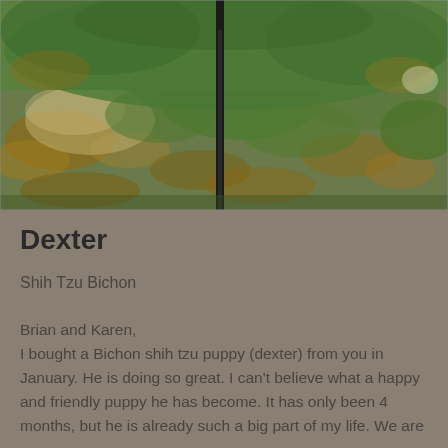[Figure (photo): Outdoor photo showing grass, fallen leaves, and a dark vertical pole or stick in the center foreground. The ground is a mix of green grass and brown leaf litter.]
Dexter
Shih Tzu Bichon
Brian and Karen,
I bought a Bichon shih tzu puppy (dexter) from you in January.  He is doing so great.   I can't believe what a happy and friendly puppy he has become.  It has only been 4 months, but he is already such a big part of my life.  We are